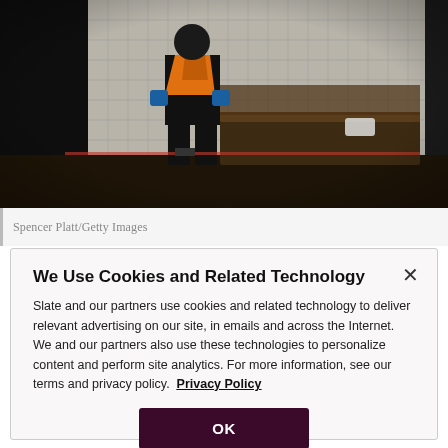[Figure (photo): A subway worker wearing an orange safety vest and dark jacket sits on a bench in what appears to be a subway station. The background shows white tile walls. The worker appears to be wearing blue gloves and a face mask is visible on the bench beside them. The scene is dimly lit with a dark floor.]
Spencer Platt/Getty Images
We Use Cookies and Related Technology
Slate and our partners use cookies and related technology to deliver relevant advertising on our site, in emails and across the Internet. We and our partners also use these technologies to personalize content and perform site analytics. For more information, see our terms and privacy policy.  Privacy Policy
OK